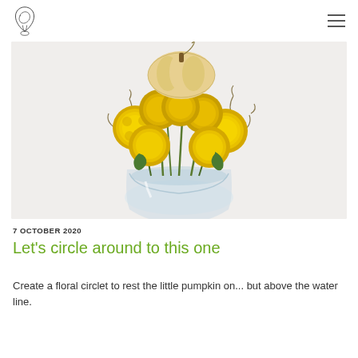[Logo] [Hamburger menu]
[Figure (photo): A floral arrangement in a round glass vase featuring bright yellow chrysanthemum blooms and a small white/cream pumpkin on top, with decorative wire curls and green stems, against a light grey/white background.]
7 OCTOBER 2020
Let's circle around to this one
Create a floral circlet to rest the little pumpkin on... but above the water line.